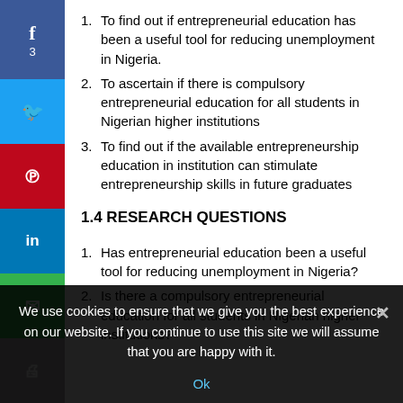1. To find out if entrepreneurial education has been a useful tool for reducing unemployment in Nigeria.
2. To ascertain if there is compulsory entrepreneurial education for all students in Nigerian higher institutions
3. To find out if the available entrepreneurship education in institution can stimulate entrepreneurship skills in future graduates
1.4 RESEARCH QUESTIONS
1. Has entrepreneurial education been a useful tool for reducing unemployment in Nigeria?
2. Is there a compulsory entrepreneurial education for all students in Nigerian higher institutions?
We use cookies to ensure that we give you the best experience on our website. If you continue to use this site we will assume that you are happy with it.
Ok